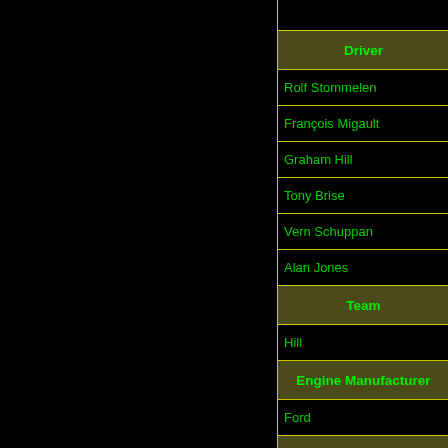| Driver |
| --- |
| Rolf Stommelen |
| François Migault |
| Graham Hill |
| Tony Brise |
| Vern Schuppan |
| Alan Jones |
| Team |
| Hill |
| Engine Manufacturer |
| Ford |
| Tyre Manufacturer |
| Goodyear |
| Lubricant Manufacturer |
| Esso |
| Entrant |